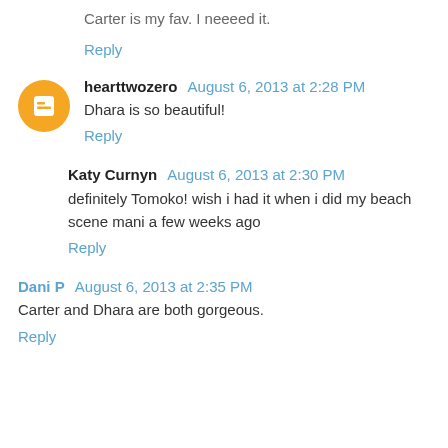Carter is my fav. I neeeed it.
Reply
hearttwozero  August 6, 2013 at 2:28 PM
Dhara is so beautiful!
Reply
Katy Curnyn  August 6, 2013 at 2:30 PM
definitely Tomoko! wish i had it when i did my beach scene mani a few weeks ago
Reply
Dani P  August 6, 2013 at 2:35 PM
Carter and Dhara are both gorgeous.
Reply